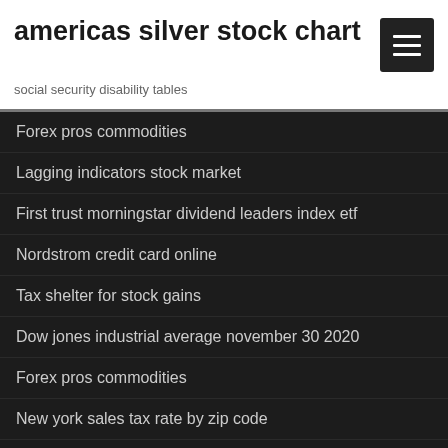americas silver stock chart
social security disability tables
Forex pros commodities
Lagging indicators stock market
First trust morningstar dividend leaders index etf
Nordstrom credit card online
Tax shelter for stock gains
Dow jones industrial average november 30 2020
Forex pros commodities
New york sales tax rate by zip code
Stock market break time
Are mortgage rates higher for mobile homes